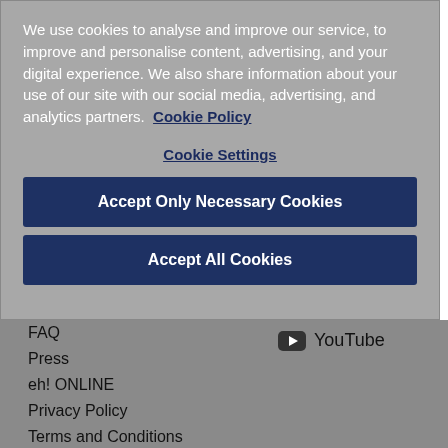We use cookies to analyse and improve our service, to improve and personalise content, advertising, and your digital experience. We also share information about your use of our site with our social media, advertising, and analytics partners.  Cookie Policy
Cookie Settings
Accept Only Necessary Cookies
Accept All Cookies
FAQ
Press
eh! ONLINE
Privacy Policy
Terms and Conditions
Cookie Policy
Key Safety Measures
[Figure (logo): YouTube icon (rounded rectangle with play triangle) followed by text 'YouTube']